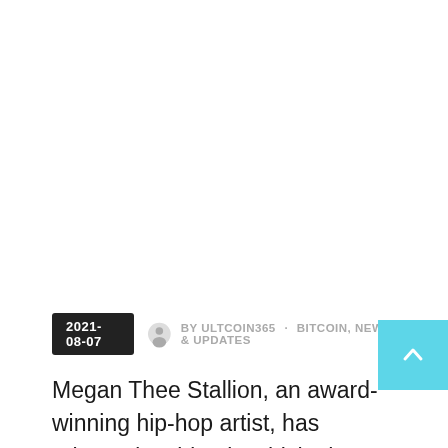[Figure (photo): Large blank/white image area at top of article page]
2021-08-07 · BY ULTCOIN365 · BITCOIN, NEWS & UPDATES
Megan Thee Stallion, an award-winning hip-hop artist, has released a video in which she explains the basics of bitcoin, including what it is, why it is valuable, and how to